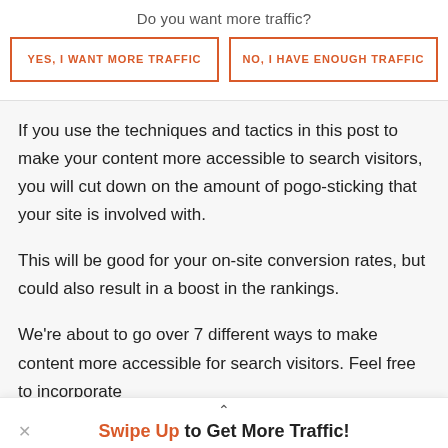Do you want more traffic?
[Figure (other): Two CTA buttons side by side: 'YES, I WANT MORE TRAFFIC' and 'NO, I HAVE ENOUGH TRAFFIC', both with orange border and orange text on white background]
If you use the techniques and tactics in this post to make your content more accessible to search visitors, you will cut down on the amount of pogo-sticking that your site is involved with.
This will be good for your on-site conversion rates, but could also result in a boost in the rankings.
We're about to go over 7 different ways to make content more accessible for search visitors.  Feel free to incorporate
Swipe Up to Get More Traffic!